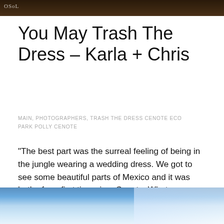[Figure (photo): Dark jungle/nature photo strip at top with watermark text 'OSoL']
You May Trash The Dress – Karla + Chris
MAIN, PHOTOGRAPHERS, TRASH THE DRESS CENOTE ECO PARK POLLY CENOTE
"The best part was the surreal feeling of being in the jungle wearing a wedding dress. We got to see some beautiful parts of Mexico and it was both of our first times in a Cenote. What an adventure!" - Karla + Chris - Tulum Mexico #Aworldofitsown After...
[Figure (photo): Blue sky with clouds photo at the bottom of the page]